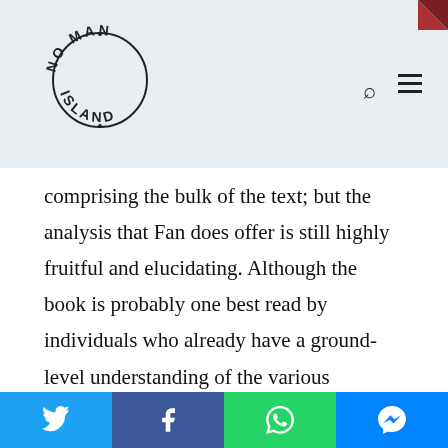No Man Island — logo and navigation
comprising the bulk of the text; but the analysis that Fan does offer is still highly fruitful and elucidating. Although the book is probably one best read by individuals who already have a ground-level understanding of the various contentious social issues at stake in Taiwanese politics, Deliberative Democracy in Taiwan is highly informative. As experiments in deliberative democracy continue in contemporary Taiwan, the book may eventually become a useful historical snapshot of a moment in Taiwanese deliberative democracy. Fan's book, then, points to an avenue of inquiry into Taiwanese politics in need of greater attention.
Social share bar: Twitter, Facebook, WhatsApp, Messenger